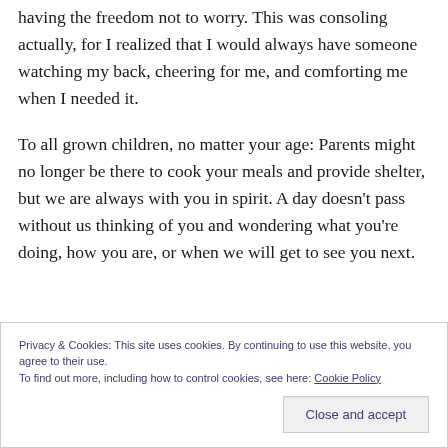having the freedom not to worry. This was consoling actually, for I realized that I would always have someone watching my back, cheering for me, and comforting me when I needed it.
To all grown children, no matter your age: Parents might no longer be there to cook your meals and provide shelter, but we are always with you in spirit. A day doesn't pass without us thinking of you and wondering what you're doing, how you are, or when we will get to see you next.
Privacy & Cookies: This site uses cookies. By continuing to use this website, you agree to their use. To find out more, including how to control cookies, see here: Cookie Policy